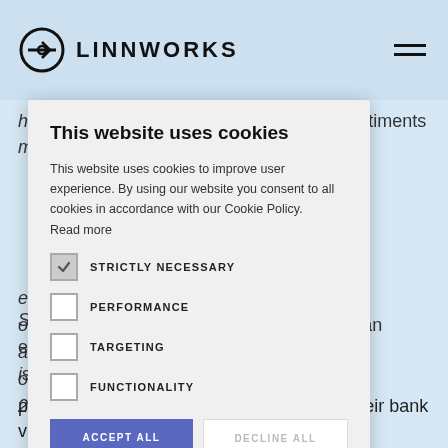LINNWORKS
these are just a few of the growing list of sentiments many are expressing – all with
you: if a high intent to purchase based on their sentiment, you can bucket. This to customize their response to promotes a purchase
Provide omnichannel support
customers contacted you via an email to call. Today's about new products on Instagram, direct-messaging their bank via
[Figure (screenshot): Cookie consent modal dialog on Linnworks website. Contains title 'This website uses cookies', body text about cookie policy, checkboxes for STRICTLY NECESSARY (checked), PERFORMANCE, TARGETING, FUNCTIONALITY, and buttons ACCEPT ALL and DECLINE ALL, plus SHOW DETAILS option.]